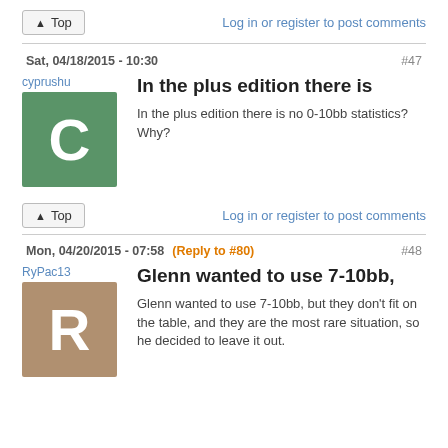▲ Top   Log in or register to post comments
Sat, 04/18/2015 - 10:30   #47
cyprushu
In the plus edition there is
In the plus edition there is no 0-10bb statistics? Why?
▲ Top   Log in or register to post comments
Mon, 04/20/2015 - 07:58 (Reply to #80)   #48
RyPac13
Glenn wanted to use 7-10bb,
Glenn wanted to use 7-10bb, but they don't fit on the table, and they are the most rare situation, so he decided to leave it out.